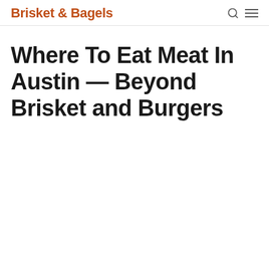Brisket & Bagels
Where To Eat Meat In Austin — Beyond Brisket and Burgers